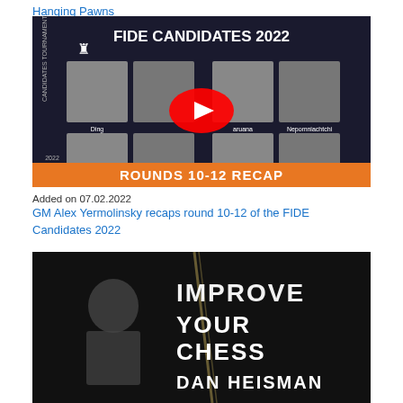Hanging Pawns
[Figure (screenshot): FIDE Candidates 2022 video thumbnail showing 8 chess players (Ding, Caruana, Nepomniachtchi, Rapport, Nakamura, Radjabov, Duda) with a YouTube play button overlay and 'ROUNDS 10-12 RECAP' banner at the bottom]
Added on 07.02.2022
GM Alex Yermolinsky recaps round 10-12 of the FIDE Candidates 2022
[Figure (screenshot): Dark video thumbnail with text 'IMPROVE YOUR CHESS DAN HEISMAN' in large stencil-style lettering with a person visible on the left side]